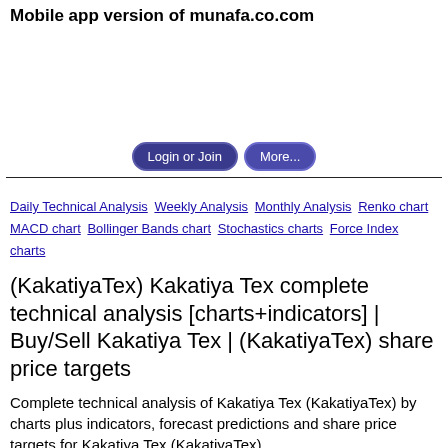Mobile app version of munafa.co.com
Login or Join  More...
Daily Technical Analysis  Weekly Analysis  Monthly Analysis  Renko chart  MACD chart  Bollinger Bands chart  Stochastics charts  Force Index charts
(KakatiyaTex) Kakatiya Tex complete technical analysis [charts+indicators] | Buy/Sell Kakatiya Tex | (KakatiyaTex) share price targets
Complete technical analysis of Kakatiya Tex (KakatiyaTex) by charts plus indicators, forecast predictions and share price targets for Kakatiya Tex (KakatiyaTex)
Showing technical analysis as on 2022-05-05 View latest